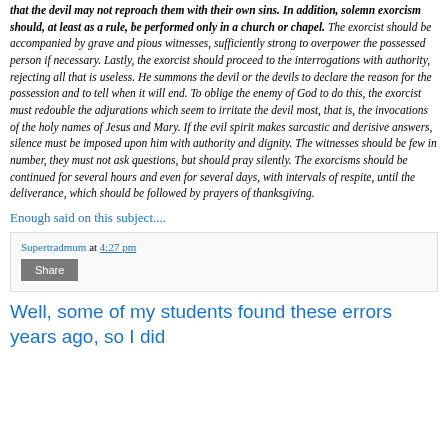that the devil may not reproach them with their own sins. In addition, solemn exorcism should, at least as a rule, be performed only in a church or chapel. The exorcist should be accompanied by grave and pious witnesses, sufficiently strong to overpower the possessed person if necessary. Lastly, the exorcist should proceed to the interrogations with authority, rejecting all that is useless. He summons the devil or the devils to declare the reason for the possession and to tell when it will end. To oblige the enemy of God to do this, the exorcist must redouble the adjurations which seem to irritate the devil most, that is, the invocations of the holy names of Jesus and Mary. If the evil spirit makes sarcastic and derisive answers, silence must be imposed upon him with authority and dignity. The witnesses should be few in number, they must not ask questions, but should pray silently. The exorcisms should be continued for several hours and even for several days, with intervals of respite, until the deliverance, which should be followed by prayers of thanksgiving.
Enough said on this subject....
Supertradmum at 4:27 pm
Share
Well, some of my students found these errors years ago, so I did